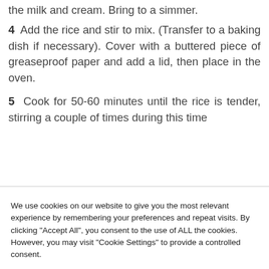the milk and cream. Bring to a simmer.
4  Add the rice and stir to mix. (Transfer to a baking dish if necessary). Cover with a buttered piece of greaseproof paper and add a lid, then place in the oven.
5  Cook for 50-60 minutes until the rice is tender, stirring a couple of times during this time
We use cookies on our website to give you the most relevant experience by remembering your preferences and repeat visits. By clicking "Accept All", you consent to the use of ALL the cookies. However, you may visit "Cookie Settings" to provide a controlled consent.